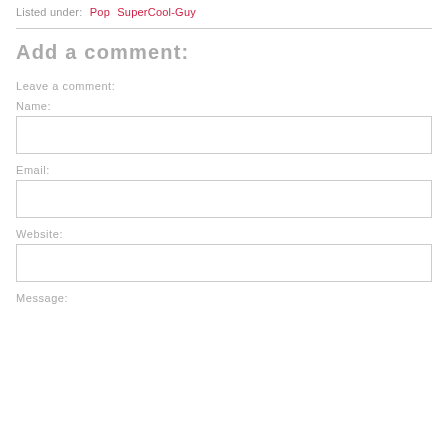Listed under: Pop SuperCool-Guy
Add a comment:
Leave a comment:
Name:
Email:
Website:
Message: